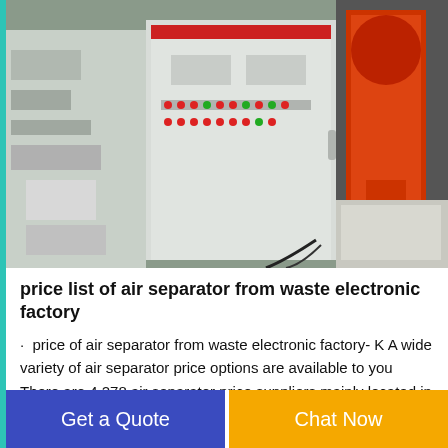[Figure (photo): Industrial air separator machinery — white control panel cabinet with red indicator lights in center, industrial equipment on left and orange/red cylindrical components on right, in a factory setting.]
price list of air separator from waste electronic factory
· price of air separator from waste electronic factory- K A wide variety of air separator price options are available to you There are 4 278 air separator price suppliers mainly located in Asia. The top supplying countries are China (Mainland) Hong
Get a Quote
Chat Now